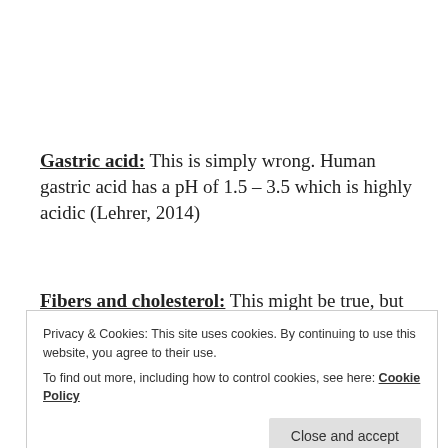Gastric acid: This is simply wrong. Human gastric acid has a pH of 1.5 – 3.5 which is highly acidic (Lehrer, 2014)
Fibers and cholesterol: This might be true, but it's mainly carnivores that really need these traits. I don't know if this is representative of the given
according to the image.